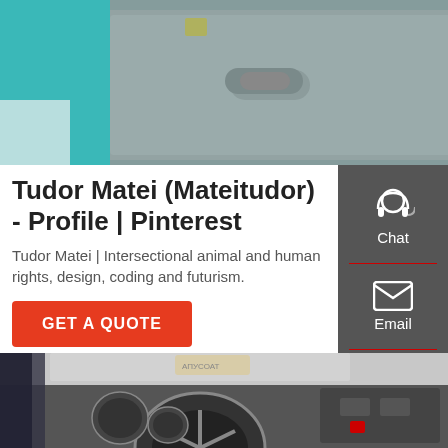[Figure (photo): Interior of a truck cab with open door showing teal/turquoise door frame, gray door panel, and footstep area]
Tudor Matei (Mateitudor) - Profile | Pinterest
Tudor Matei | Intersectional animal and human rights, design, coding and futurism.
GET A QUOTE
[Figure (photo): Interior view of truck dashboard and steering wheel area]
[Figure (infographic): Sidebar with Chat, Email, and Contact icons on dark gray background]